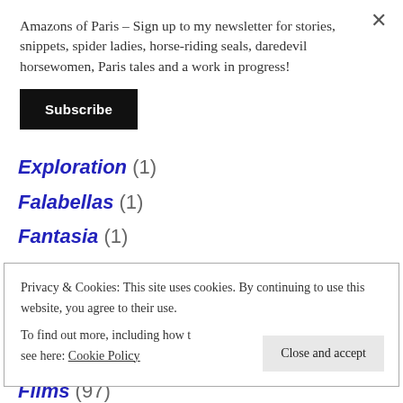Amazons of Paris – Sign up to my newsletter for stories, snippets, spider ladies, horse-riding seals, daredevil horsewomen, Paris tales and a work in progress!
Subscribe
Exploration (1)
Falabellas (1)
Fantasia (1)
Farriers and Blacksmithing (3)
Privacy & Cookies: This site uses cookies. By continuing to use this website, you agree to their use. To find out more, including how to control cookies, see here: Cookie Policy
Close and accept
Films (97)